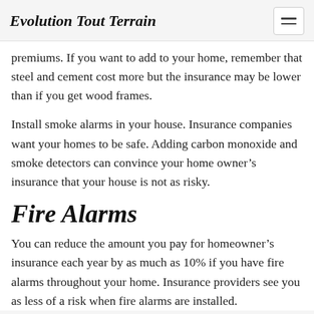Evolution Tout Terrain
premiums. If you want to add to your home, remember that steel and cement cost more but the insurance may be lower than if you get wood frames.
Install smoke alarms in your house. Insurance companies want your homes to be safe. Adding carbon monoxide and smoke detectors can convince your home owner’s insurance that your house is not as risky.
Fire Alarms
You can reduce the amount you pay for homeowner’s insurance each year by as much as 10% if you have fire alarms throughout your home. Insurance providers see you as less of a risk when fire alarms are installed.